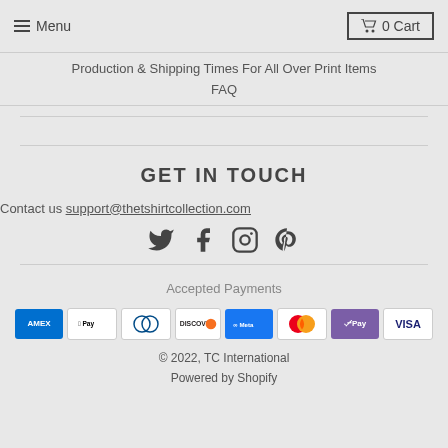Menu | 0 Cart
Production & Shipping Times For All Over Print Items
FAQ
GET IN TOUCH
Contact us support@thetshirtcollection.com
[Figure (other): Social media icons: Twitter, Facebook, Instagram, Pinterest]
Accepted Payments
[Figure (other): Payment method badges: AMEX, Apple Pay, Diners, Discover, Meta, Mastercard, GPay, VISA]
© 2022, TC International
Powered by Shopify